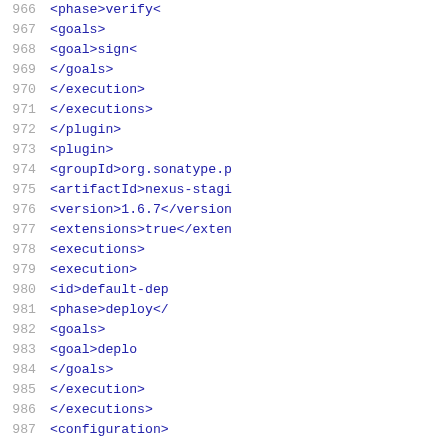Code listing lines 966-987 showing XML plugin configuration with phase, goals, plugin, groupId, artifactId, version, extensions, executions, execution, id, phase, goals, goal elements